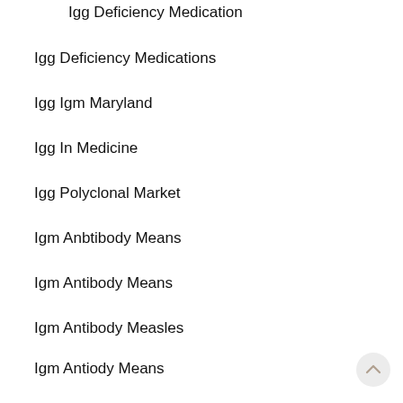Igg Deficiency Medication
Igg Deficiency Medications
Igg Igm Maryland
Igg In Medicine
Igg Polyclonal Market
Igm Anbtibody Means
Igm Antibody Means
Igm Antibody Measles
Igm Antiody Means
Igm Blood Marker
Igm Cha Matalab Hindi